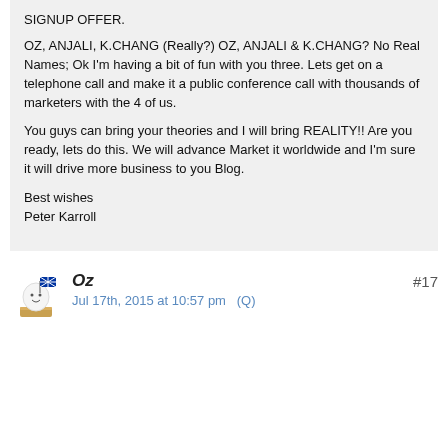SIGNUP OFFER.

OZ, ANJALI, K.CHANG (Really?) OZ, ANJALI & K.CHANG? No Real Names; Ok I'm having a bit of fun with you three. Lets get on a telephone call and make it a public conference call with thousands of marketers with the 4 of us.

You guys can bring your theories and I will bring REALITY!! Are you ready, lets do this. We will advance Market it worldwide and I'm sure it will drive more business to you Blog.

Best wishes
Peter Karroll
Oz
Jul 17th, 2015 at 10:57 pm  (Q)
#17